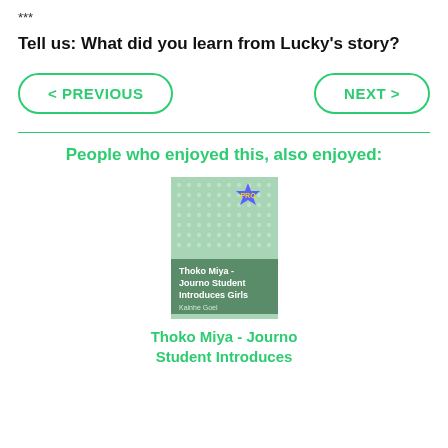***
Tell us: What did you learn from Lucky's story?
< PREVIOUS    NEXT >
People who enjoyed this, also enjoyed:
[Figure (illustration): Book cover for Thoko Miya - Journo Student Introduces Girls by Kainhe Goel. Green dotted cover with PRO badge and title on dark green banner.]
Thoko Miya - Journno Student Introduces